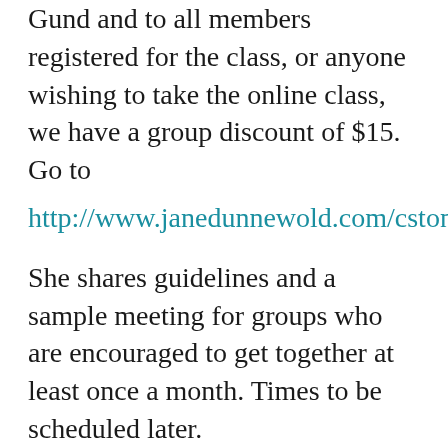Gund and to all members registered for the class, or anyone wishing to take the online class, we have a group discount of $15. Go to
http://www.janedunnewold.com/cstonline
She shares guidelines and a sample meeting for groups who are encouraged to get together at least once a month. Times to be scheduled later.
When you register, the name of the Group is Linda Dawson. You must pay by PayPal.
If you choose to register using PayPal and